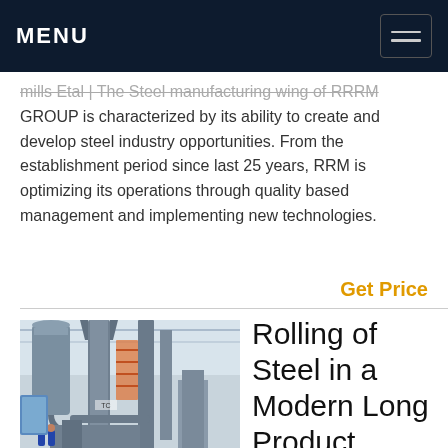MENU
mills Etal | The Steel manufacturing wing of RRRM GROUP is characterized by its ability to create and develop steel industry opportunities. From the establishment period since last 25 years, RRM is optimizing its operations through quality based management and implementing new technologies.
Get Price
[Figure (photo): Industrial steel rolling mill machinery inside a large factory building, showing large grey cylindrical equipment, ducts, pipes, and workers in the background.]
Rolling of Steel in a Modern Long Product Rolling